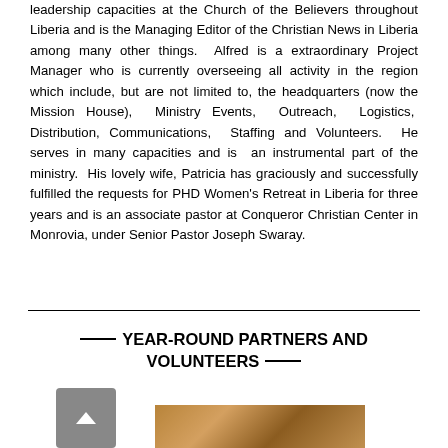leadership capacities at the Church of the Believers throughout Liberia and is the Managing Editor of the Christian News in Liberia among many other things. Alfred is a extraordinary Project Manager who is currently overseeing all activity in the region which include, but are not limited to, the headquarters (now the Mission House), Ministry Events, Outreach, Logistics, Distribution, Communications, Staffing and Volunteers. He serves in many capacities and is an instrumental part of the ministry. His lovely wife, Patricia has graciously and successfully fulfilled the requests for PHD Women's Retreat in Liberia for three years and is an associate pastor at Conqueror Christian Center in Monrovia, under Senior Pastor Joseph Swaray.
_____ YEAR-ROUND PARTNERS AND VOLUNTEERS _____
[Figure (photo): A scroll-to-top button (grey square with upward arrow) and a partial photo strip showing what appears to be a person]